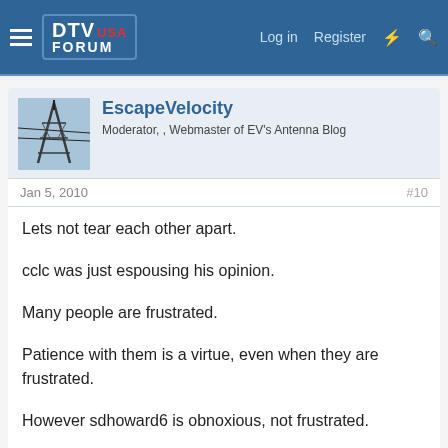DTV USA FORUM — Log in  Register
EscapeVelocity
Moderator, , Webmaster of EV's Antenna Blog
Jan 5, 2010   #10
Lets not tear each other apart.

cclc was just espousing his opinion.

Many people are frustrated.

Patience with them is a virtue, even when they are frustrated.

However sdhoward6 is obnoxious, not frustrated.

There is a difference.
Tower Guy, Piggie and cclc